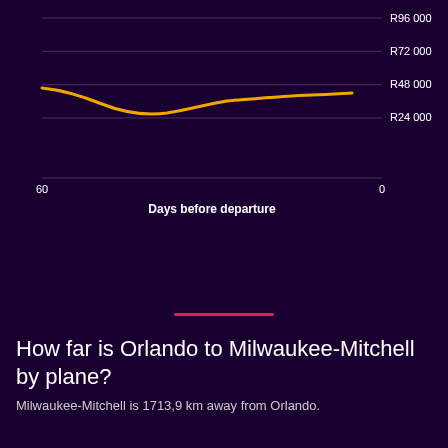[Figure (continuous-plot): Line chart showing flight price (ZAR) vs days before departure (60 to 0). The orange line starts around R52,000 at 60 days, dips to approximately R42,000 around 30-35 days out, then rises slightly to around R50,000 near departure.]
How far is Orlando to Milwaukee-Mitchell by plane?
Milwaukee-Mitchell is 1713,9 km away from Orlando.